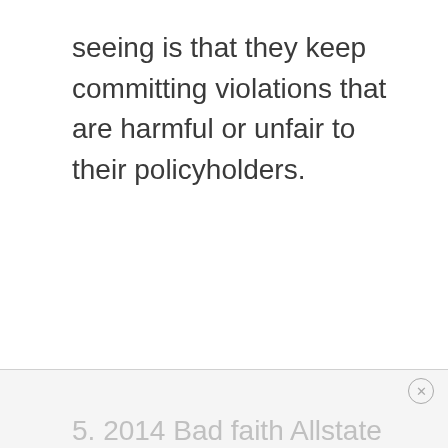seeing is that they keep committing violations that are harmful or unfair to their policyholders.
5. 2014 Bad faith Allstate